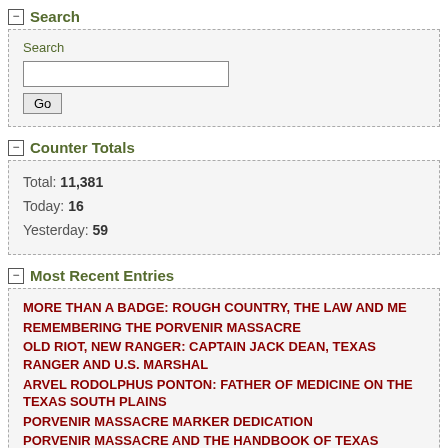Search
Search [input field] Go
Counter Totals
Total: 11,381
Today: 16
Yesterday: 59
Most Recent Entries
MORE THAN A BADGE: ROUGH COUNTRY, THE LAW AND ME
REMEMBERING THE PORVENIR MASSACRE
OLD RIOT, NEW RANGER: CAPTAIN JACK DEAN, TEXAS RANGER AND U.S. MARSHAL
ARVEL RODOLPHUS PONTON: FATHER OF MEDICINE ON THE TEXAS SOUTH PLAINS
PORVENIR MASSACRE MARKER DEDICATION
PORVENIR MASSACRE AND THE HANDBOOK OF TEXAS
WAR IN EAST TEXAS: REGULATORS VS